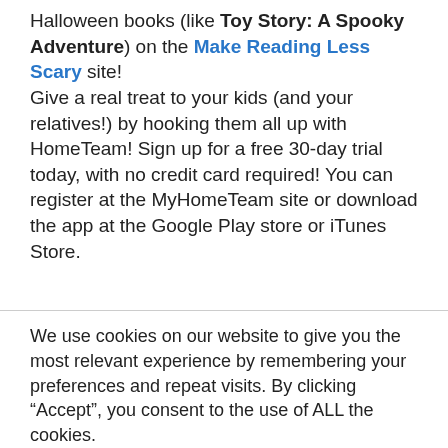Halloween books (like Toy Story: A Spooky Adventure) on the Make Reading Less Scary site! Give a real treat to your kids (and your relatives!) by hooking them all up with HomeTeam! Sign up for a free 30-day trial today, with no credit card required! You can register at the MyHomeTeam site or download the app at the Google Play store or iTunes Store.
We use cookies on our website to give you the most relevant experience by remembering your preferences and repeat visits. By clicking “Accept”, you consent to the use of ALL the cookies.
Do not sell my personal information.
Settings | Accept